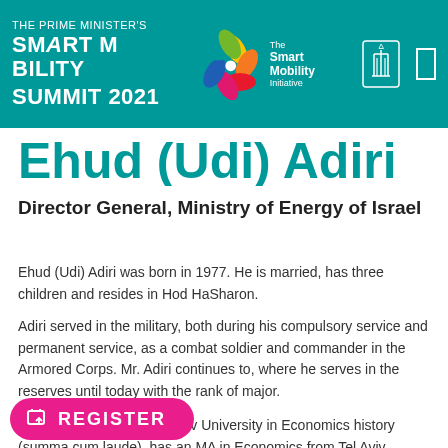THE PRIME MINISTER'S SMART MOBILITY SUMMIT 2021 | The Smart Mobility Initiative
Ehud (Udi) Adiri
Director General, Ministry of Energy of Israel
Ehud (Udi) Adiri was born in 1977. He is married, has three children and resides in Hod HaSharon.
Adiri served in the military, both during his compulsory service and permanent service, as a combat soldier and commander in the Armored Corps. Mr. Adiri continues to, where he serves in the reserves until today with the rank of major.
Adiri is a graduate of Tel Aviv University in Economics history (summa cum laude), has an MA in Economics from Tel Aviv University (2010), and an MA in